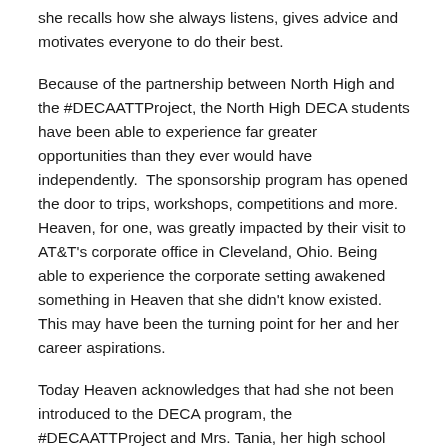she recalls how she always listens, gives advice and motivates everyone to do their best.
Because of the partnership between North High and the #DECAATTProject, the North High DECA students have been able to experience far greater opportunities than they ever would have independently.  The sponsorship program has opened the door to trips, workshops, competitions and more.  Heaven, for one, was greatly impacted by their visit to AT&T's corporate office in Cleveland, Ohio. Being able to experience the corporate setting awakened something in Heaven that she didn't know existed. This may have been the turning point for her and her career aspirations.
Today Heaven acknowledges that had she not been introduced to the DECA program, the #DECAATTProject and Mrs. Tania, her high school career would have taken a completely different direction. When asked what she thought life would have been like without DECA and the